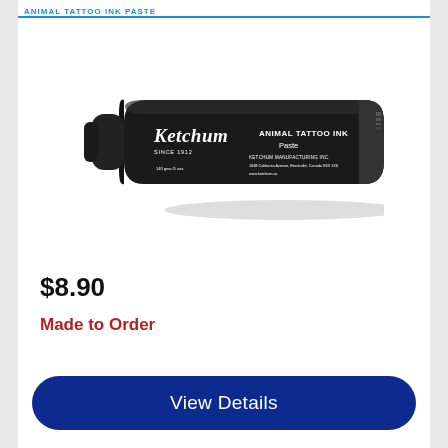ANIMAL TATTOO INK PASTE
[Figure (photo): A black tube of Ketchum Animal Tattoo Ink Paste. The tube has a black cap and label with white text reading 'Ketchum SINCE 1912 ANIMAL TATTOO INK Paste KETCHUM MANUFACTURING INC. 1048 California Avenue, Brockville, Canada K6V 1X6 www.ketchum.ca']
$8.90
Made to Order
View Details